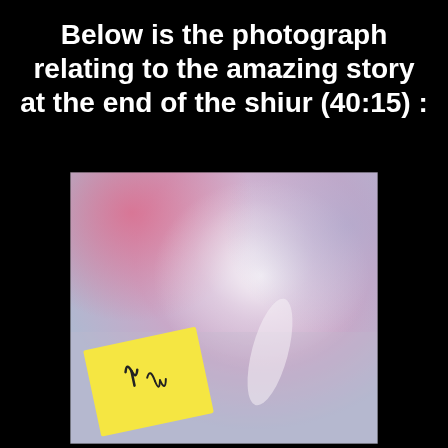Below is the photograph relating to the amazing story at the end of the shiur (40:15) :
[Figure (photo): A photograph showing a dreamy, hazy sky with pink and purple tones, and a yellow sticky note in the lower left with Hebrew or symbolic handwritten characters on it.]